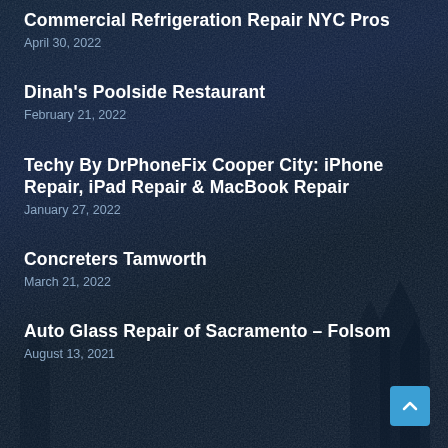Commercial Refrigeration Repair NYC Pros
April 30, 2022
Dinah's Poolside Restaurant
February 21, 2022
Techy By DrPhoneFix Cooper City: iPhone Repair, iPad Repair & MacBook Repair
January 27, 2022
Concreters Tamworth
March 21, 2022
Auto Glass Repair of Sacramento – Folsom
August 13, 2021